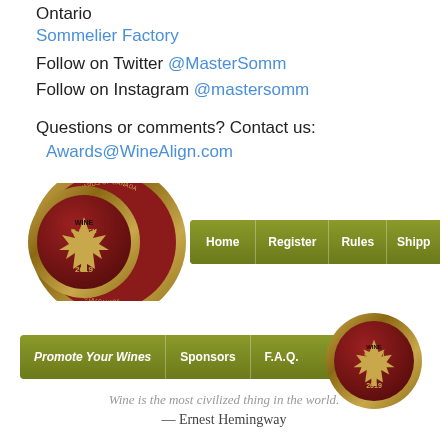Ontario
Sommelier Factory
Follow on Twitter @MasterSomm
Follow on Instagram @mastersomm
Questions or comments?  Contact us:
Awards@WineAlign.com
[Figure (screenshot): National Wine Awards of Canada 2019 WineAlign badge with navigation bar showing Home, Register, Rules, Shipping, Judges buttons]
[Figure (screenshot): Navigation bar with Promote Your Wines, Sponsors, F.A.Q. buttons and second National Wine Awards of Canada 2019 badge]
Wine is the most civilized thing in the world.
— Ernest Hemingway